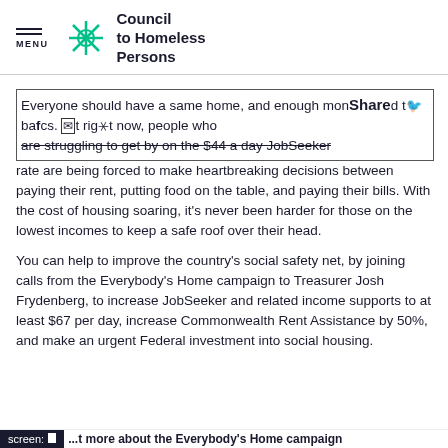MENU | Council to Homeless Persons
Everyone should have a same home, and enough money to afford the basics. But right now, people who are struggling to get by on the $44 a day JobSeeker rate are being forced to make heartbreaking decisions between paying their rent, putting food on the table, and paying their bills. With the cost of housing soaring, it's never been harder for those on the lowest incomes to keep a safe roof over their head.
You can help to improve the country's social safety net, by joining calls from the Everybody's Home campaign to Treasurer Josh Frydenberg, to increase JobSeeker and related income supports to at least $67 per day, increase Commonwealth Rent Assistance by 50%, and make an urgent Federal investment into social housing.
screen: